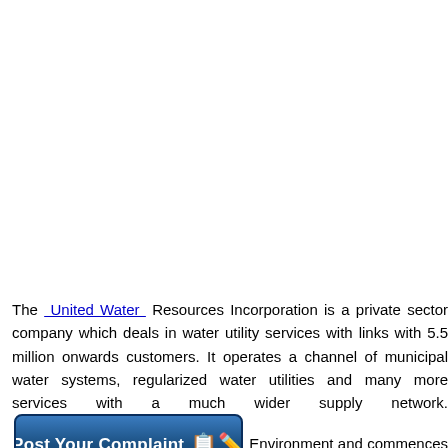The United Water Resources Incorporation is a private sector company which deals in water utility services with links with 5.5 million onwards customers. It operates a channel of municipal water systems, regularized water utilities and many more services with a much wider supply network. Environment and commences the